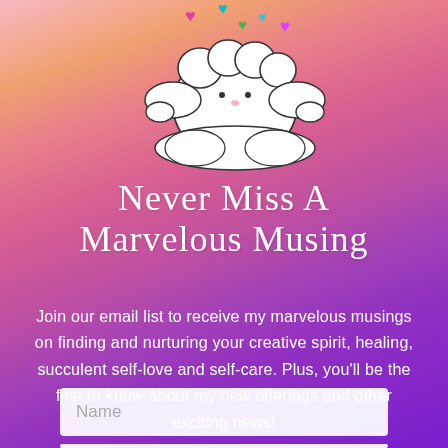[Figure (illustration): Hand-drawn cartoon illustration of a fluffy white creature/cloud figure sitting with colorful hearts (pink, teal, green, magenta, blue) floating around it, on a light peach-orange gradient background.]
Never Miss A Marvelous Musing
Join our email list to receive my marvelous musings on finding and nurturing your creative spirit, healing, succulent self-love and self-care. Plus, you'll be the first to know about my new offerings and other exciting news!